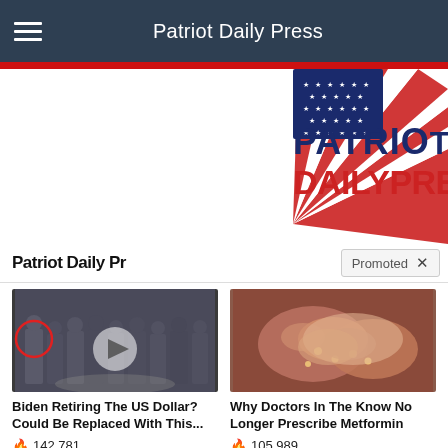Patriot Daily Press
[Figure (logo): Patriot Daily Press logo with American flag motif, text PATRIOT DAILY PRESS in bold blue and red letters]
Patriot Daily Pr
Promoted ×
[Figure (photo): Group of people in formal attire standing in a room, one person circled in red, video play button overlay]
[Figure (photo): Close-up medical image of organs]
Biden Retiring The US Dollar? Could Be Replaced With This...
🔥 142,781
Why Doctors In The Know No Longer Prescribe Metformin
🔥 105,989